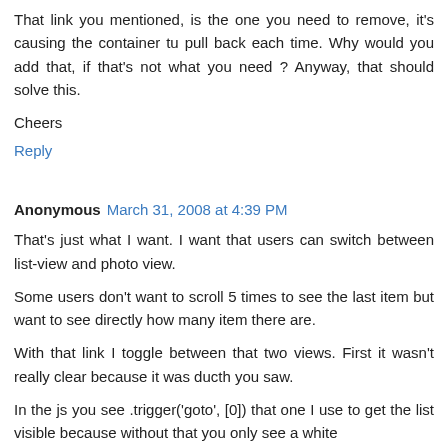That link you mentioned, is the one you need to remove, it's causing the container tu pull back each time. Why would you add that, if that's not what you need ? Anyway, that should solve this.
Cheers
Reply
Anonymous  March 31, 2008 at 4:39 PM
That's just what I want. I want that users can switch between list-view and photo view.
Some users don't want to scroll 5 times to see the last item but want to see directly how many item there are.
With that link I toggle between that two views. First it wasn't really clear because it was ducth you saw.
In the js you see .trigger('goto', [0]) that one I use to get the list visible because without that you only see a white